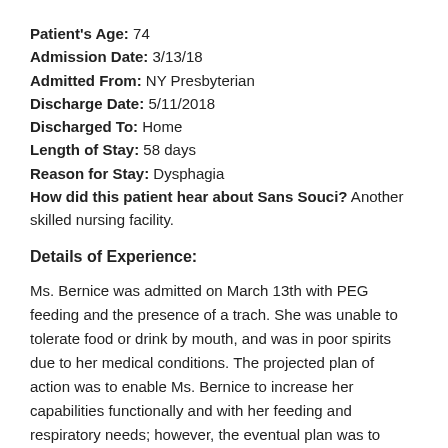Patient's Age: 74
Admission Date: 3/13/18
Admitted From: NY Presbyterian
Discharge Date: 5/11/2018
Discharged To: Home
Length of Stay: 58 days
Reason for Stay: Dysphagia
How did this patient hear about Sans Souci? Another skilled nursing facility.
Details of Experience:
Ms. Bernice was admitted on March 13th with PEG feeding and the presence of a trach. She was unable to tolerate food or drink by mouth, and was in poor spirits due to her medical conditions. The projected plan of action was to enable Ms. Bernice to increase her capabilities functionally and with her feeding and respiratory needs; however, the eventual plan was to anticipate long term care, as she and her loving family felt she would need due to her extensive needs.